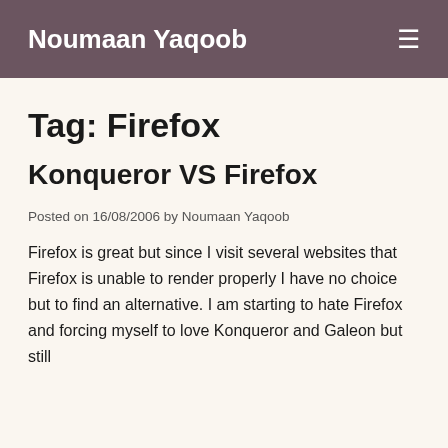Noumaan Yaqoob
Tag: Firefox
Konqueror VS Firefox
Posted on 16/08/2006 by Noumaan Yaqoob
Firefox is great but since I visit several websites that Firefox is unable to render properly I have no choice but to find an alternative. I am starting to hate Firefox and forcing myself to love Konqueror and Galeon but still